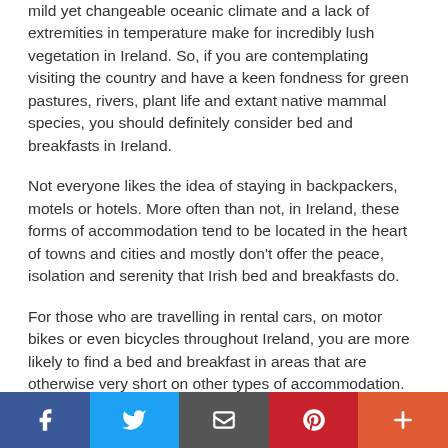mild yet changeable oceanic climate and a lack of extremities in temperature make for incredibly lush vegetation in Ireland. So, if you are contemplating visiting the country and have a keen fondness for green pastures, rivers, plant life and extant native mammal species, you should definitely consider bed and breakfasts in Ireland.
Not everyone likes the idea of staying in backpackers, motels or hotels. More often than not, in Ireland, these forms of accommodation tend to be located in the heart of towns and cities and mostly don't offer the peace, isolation and serenity that Irish bed and breakfasts do.
For those who are travelling in rental cars, on motor bikes or even bicycles throughout Ireland, you are more likely to find a bed and breakfast in areas that are otherwise very short on other types of accommodation.
There are many tourist attractions worth checking out in